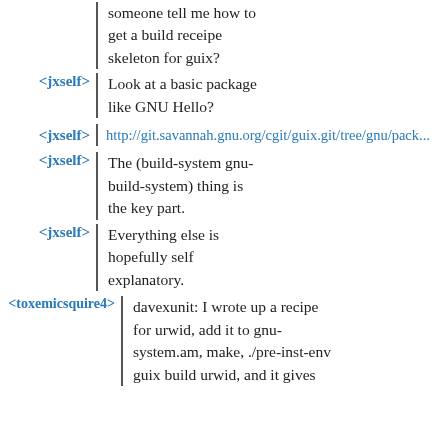someone tell me how to get a build receipe skeleton for guix?
<jxself> Look at a basic package like GNU Hello?
<jxself> http://git.savannah.gnu.org/cgit/guix.git/tree/gnu/pack...
<jxself> The (build-system gnu-build-system) thing is the key part.
<jxself> Everything else is hopefully self explanatory.
<toxemicsquire4> davexunit: I wrote up a recipe for urwid, add it to gnu-system.am, make, ./pre-inst-env guix build urwid, and it gives